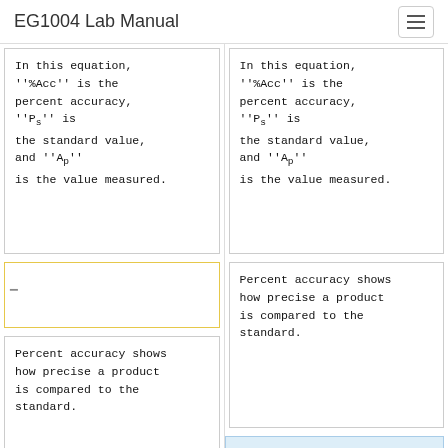EG1004 Lab Manual
In this equation, ''%Acc'' is the percent accuracy, ''P<sub>s</sub>'' is the standard value, and ''A<sub>p</sub>'' is the value measured.
In this equation, ''%Acc'' is the percent accuracy, ''P<sub>s</sub>'' is the standard value, and ''A<sub>p</sub>'' is the value measured.
Percent accuracy shows how precise a product is compared to the standard.
Percent accuracy shows how precise a product is compared to the standard.
Calculating precision and percent accuracy and then comparing results to given tolerances determines the quality of the product.